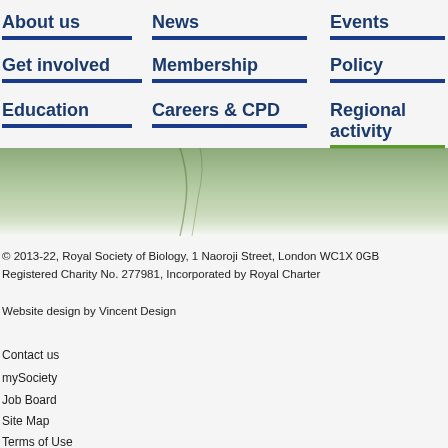About us
News
Events
Get involved
Membership
Policy
Education
Careers & CPD
Regional activity
[Figure (photo): Green nature/plant banner image with gradient fade to white at bottom]
© 2013-22, Royal Society of Biology, 1 Naoroji Street, London WC1X 0GB
Registered Charity No. 277981, Incorporated by Royal Charter
Website design by Vincent Design
Contact us
mySociety
Job Board
Site Map
Terms of Use